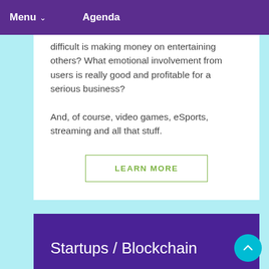Menu  Agenda
difficult is making money on entertaining others? What emotional involvement from users is really good and profitable for a serious business?
And, of course, video games, eSports, streaming and all that stuff.
LEARN MORE
Startups / Blockchain
This year is definitely the year of blockchain and cryptocurrencies. There is a lot of noise, but there is no much of the real expertise. On iForum we will fix